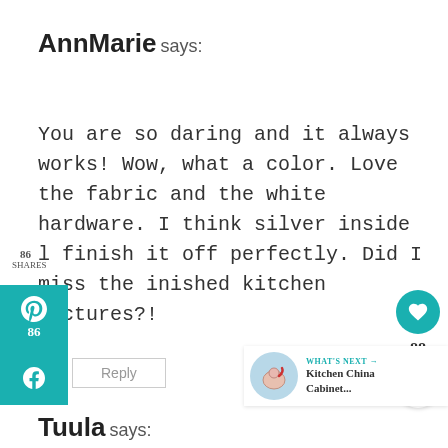AnnMarie says:
You are so daring and it always works! Wow, what a color. Love the fabric and the white hardware. I think silver inside l finish it off perfectly. Did I miss the inished kitchen pictures?!
Reply
Tuula says: